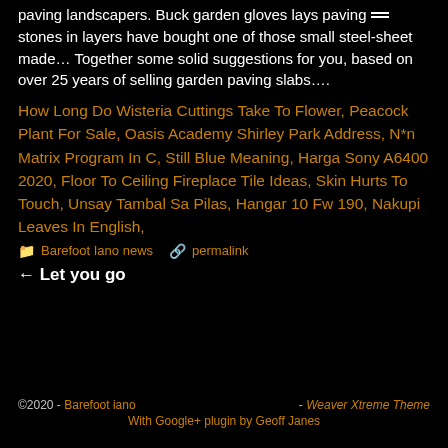paving landscapers. Buck garden gloves lays paving stones in layers have bought one of those small steel-sheet made… Together some solid suggestions for you, based on over 25 years of selling garden paving slabs….
How Long Do Wisteria Cuttings Take To Flower, Peacock Plant For Sale, Oasis Academy Shirley Park Address, N*n Matrix Program In C, Still Blue Meaning, Harga Sony A6400 2020, Floor To Ceiling Fireplace Tile Ideas, Skin Hurts To Touch, Unsay Tambal Sa Pilas, Hangar 10 Fw 190, Nakupi Leaves In English,
Barefoot Iano news   permalink
← Let you go
©2020 - Barefoot iano - Weaver Xtreme Theme With Google+ plugin by Geoff Janes